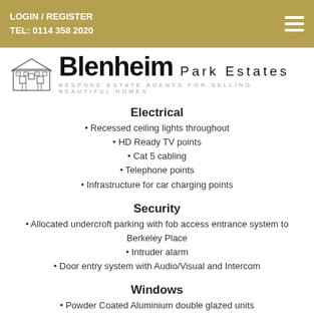LOGIN / REGISTER
TEL: 0114 358 2020
[Figure (logo): Blenheim Park Estates logo with a house illustration, bold Blenheim text and Park Estates in spaced lettering, tagline: BESPOKE ESTATE AGENTS FOR SELLING BEAUTIFUL HOMES]
Electrical
Recessed ceiling lights throughout
HD Ready TV points
Cat 5 cabling
Telephone points
Infrastructure for car charging points
Security
Allocated undercroft parking with fob access entrance system to Berkeley Place
Intruder alarm
Door entry system with Audio/Visual and Intercom
Windows
Powder Coated Aluminium double glazed units